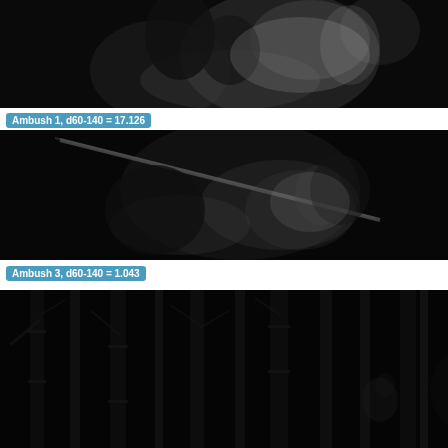[Figure (photo): Grayscale/dark action scene showing two animated characters fighting, close-up view from behind, dark dramatic lighting. Ambush 1 scene.]
Ambush 1, d60-140 = 17.126
[Figure (photo): Grayscale/dark action scene showing an animated character with a weapon (staff/spear), low angle view, dark background. Ambush 3 scene.]
Ambush 3, d60-140 = 1.043
[Figure (photo): Grayscale dark scene showing bamboo forest/stalks with a character partially visible among the bamboo. Dark, moody lighting.]